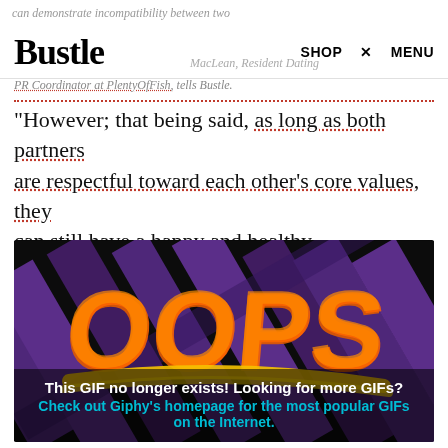can demonstrate incompatibility between two
Bustle
MacLean, Resident Dating Expert and PR Coordinator at PlentyOfFish, tells Bustle.
“However; that being said, as long as both partners are respectful toward each other's core values, they can still have a happy and healthy relationship.”
[Figure (illustration): OOPS animation placeholder from Giphy on a dark background with purple diagonal bars and orange/red stylized 'OOPS' text. Overlay reads: 'This GIF no longer exists! Looking for more GIFs? Check out Giphy’s homepage for the most popular GIFs on the Internet.']